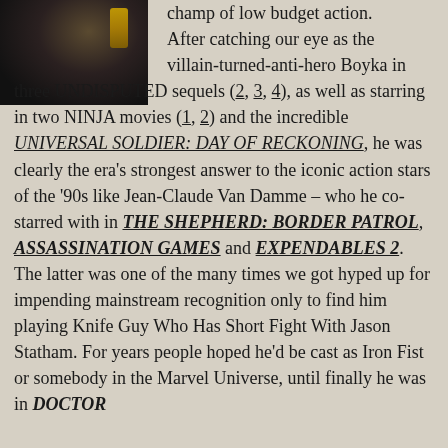[Figure (photo): Dark moody photo of a person in dark clothing with a gold/yellow highlight element visible]
champ of low budget action. After catching our eye as the villain-turned-anti-hero Boyka in three UNDISPUTED sequels (2, 3, 4), as well as starring in two NINJA movies (1, 2) and the incredible UNIVERSAL SOLDIER: DAY OF RECKONING, he was clearly the era's strongest answer to the iconic action stars of the '90s like Jean-Claude Van Damme – who he co-starred with in THE SHEPHERD: BORDER PATROL, ASSASSINATION GAMES and EXPENDABLES 2. The latter was one of the many times we got hyped up for impending mainstream recognition only to find him playing Knife Guy Who Has Short Fight With Jason Statham. For years people hoped he'd be cast as Iron Fist or somebody in the Marvel Universe, until finally he was in DOCTOR